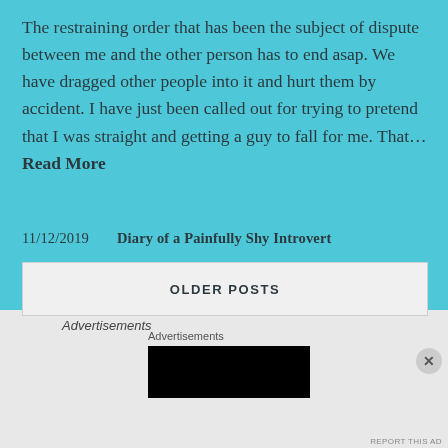The restraining order that has been the subject of dispute between me and the other person has to end asap. We have dragged other people into it and hurt them by accident. I have just been called out for trying to pretend that I was straight and getting a guy to fall for me. That... Read More
11/12/2019    Diary of a Painfully Shy Introvert
OLDER POSTS
Advertisements
Advertisements
REPORT THIS AD